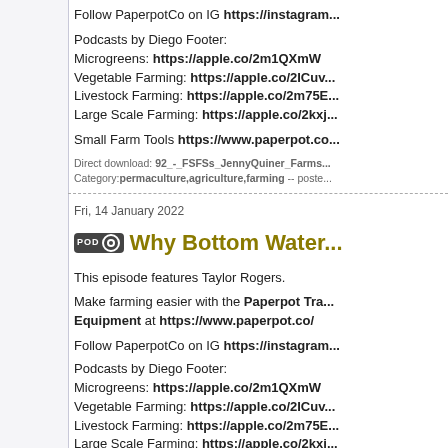Follow PaperpotCo on IG https://instagram...
Podcasts by Diego Footer:
Microgreens: https://apple.co/2m1QXmW
Vegetable Farming: https://apple.co/2ICuv...
Livestock Farming: https://apple.co/2m75E...
Large Scale Farming: https://apple.co/2kxj...
Small Farm Tools https://www.paperpot.co...
Direct download: 92_-_FSFSs_JennyQuiner_Farms...
Category:permaculture,agriculture,farming -- poste...
Fri, 14 January 2022
Why Bottom Water...
This episode features Taylor Rogers.
Make farming easier with the Paperpot Tra... Equipment at https://www.paperpot.co/
Follow PaperpotCo on IG https://instagram...
Podcasts by Diego Footer:
Microgreens: https://apple.co/2m1QXmW
Vegetable Farming: https://apple.co/2ICuv...
Livestock Farming: https://apple.co/2m75E...
Large Scale Farming: https://apple.co/2kxj...
Small Farm Tools https://www.paperpot.co...
Direct download: 91_-_FSFSs_TaylorRogers_Botto...
Category:permaculture,agriculture,farming -- poste...
Thu, 13 January 2022